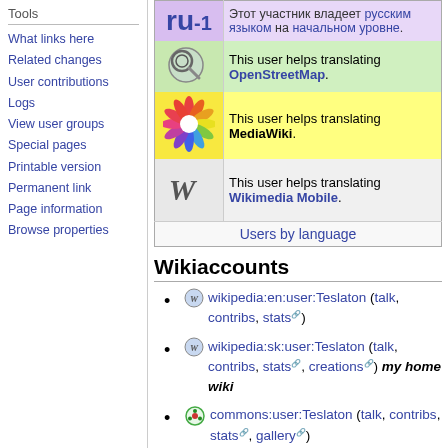Tools
What links here
Related changes
User contributions
Logs
View user groups
Special pages
Printable version
Permanent link
Page information
Browse properties
[Figure (table-as-image): Userbox table with ru-1 Russian language badge, OpenStreetMap translator badge, MediaWiki translator badge, and Wikimedia Mobile translator badge, plus Users by language link]
Wikiaccounts
wikipedia:en:user:Teslaton (talk, contribs, stats)
wikipedia:sk:user:Teslaton (talk, contribs, stats, creations) my home wiki
commons:user:Teslaton (talk, contribs, stats, gallery)